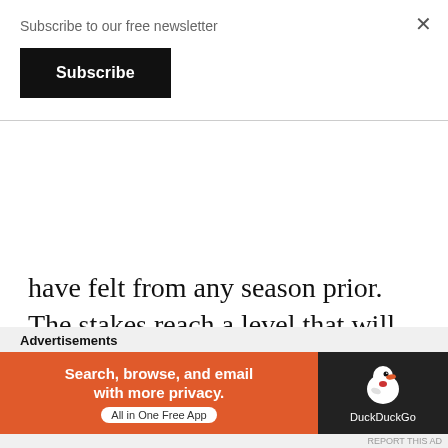Subscribe to our free newsletter
Subscribe
have felt from any season prior. The stakes reach a level that will have implications for every character in the series. With some characters taking strides with their characters, some of our beloved characters do see themselves regressing in some aspects of their lives and falling back to old habits.
Advertisements
[Figure (screenshot): DuckDuckGo advertisement banner with orange background. Text reads: 'Search, browse, and email with more privacy. All in One Free App' with DuckDuckGo duck logo on dark background.]